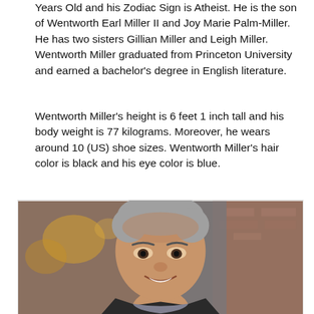Years Old and his Zodiac Sign is Atheist. He is the son of Wentworth Earl Miller II and Joy Marie Palm-Miller. He has two sisters Gillian Miller and Leigh Miller. Wentworth Miller graduated from Princeton University and earned a bachelor's degree in English literature.
Wentworth Miller's height is 6 feet 1 inch tall and his body weight is 77 kilograms. Moreover, he wears around 10 (US) shoe sizes. Wentworth Miller's hair color is black and his eye color is blue.
[Figure (photo): Photo of Wentworth Miller smiling, wearing a dark jacket and scarf, with a blurred background featuring warm lights.]